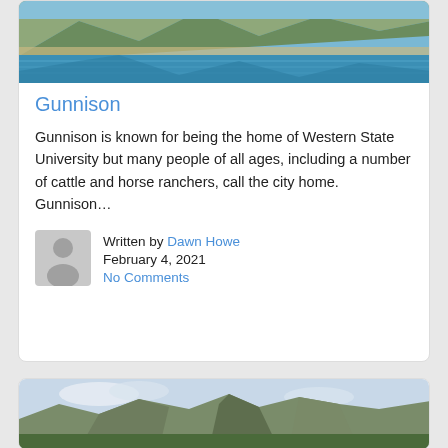[Figure (photo): Blue lake with mountains and sandy shore reflecting in calm water]
Gunnison
Gunnison is known for being the home of Western State University but many people of all ages, including a number of cattle and horse ranchers, call the city home. Gunnison…
Written by Dawn Howe
February 4, 2021
No Comments
[Figure (photo): Mountain landscape with rocky cliffs and green trees under cloudy sky]